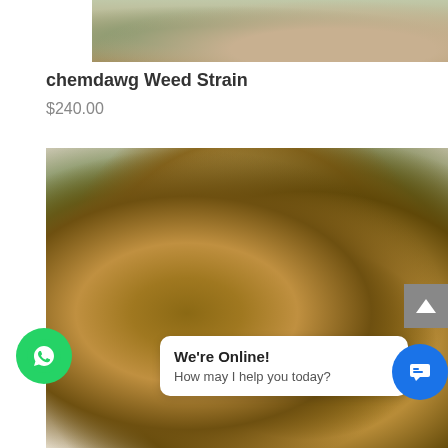[Figure (photo): Close-up photo of a hand holding a cannabis bud (chemdawg strain), cropped to show only the bottom portion of the bud and hand]
chemdawg Weed Strain
$240.00
[Figure (photo): Close-up photo of cannabis buds (chemdawg strain) showing dense orange and green flower clusters on a white surface]